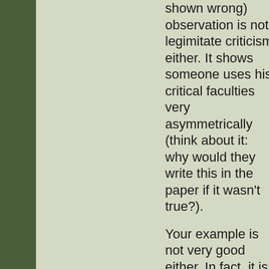shown wrong) observation is not legimitate criticism either. It shows someone uses his critical faculties very asymmetrically (think about it: why would they write this in the paper if it wasn't true?).

Your example is not very good either. In fact, it is outright stupid. Lewandowsky's survey did not test the equivalent